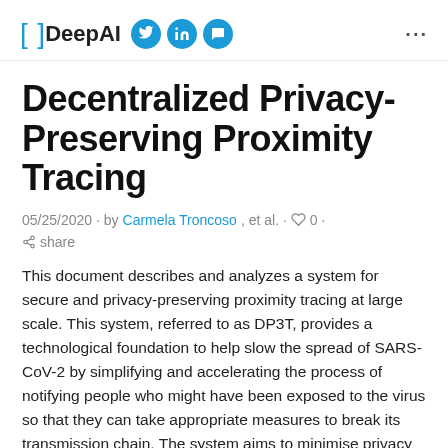[ ] DeepAI
Decentralized Privacy-Preserving Proximity Tracing
05/25/2020 · by Carmela Troncoso, et al. · 0 · share
This document describes and analyzes a system for secure and privacy-preserving proximity tracing at large scale. This system, referred to as DP3T, provides a technological foundation to help slow the spread of SARS-CoV-2 by simplifying and accelerating the process of notifying people who might have been exposed to the virus so that they can take appropriate measures to break its transmission chain. The system aims to minimise privacy and security risks for individuals and